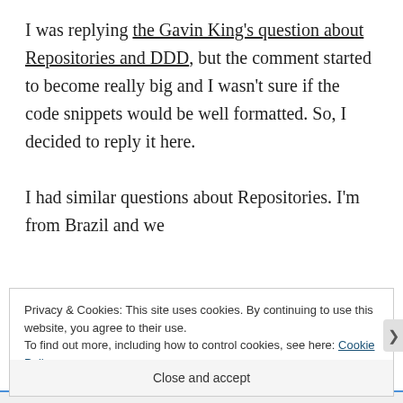I was replying the Gavin King's question about Repositories and DDD, but the comment started to become really big and I wasn't sure if the code snippets would be well formatted. So, I decided to reply it here.

I had similar questions about Repositories. I'm from Brazil and we
Privacy & Cookies: This site uses cookies. By continuing to use this website, you agree to their use.
To find out more, including how to control cookies, see here: Cookie Policy
Close and accept